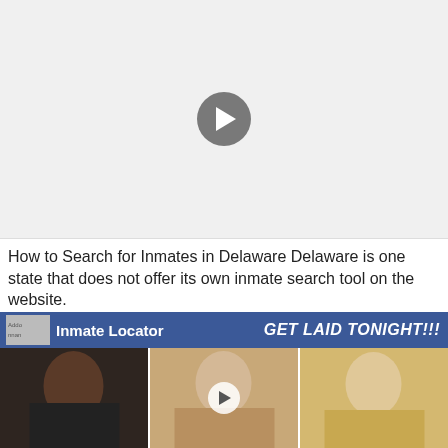Locating an Inmate —
[Figure (screenshot): Embedded video player area with gray background and a circular play button in the center]
How to Search for Inmates in Delaware Delaware is one state that does not offer its own inmate search tool on the website.
[Figure (infographic): Advertisement banner with blue background showing 'Inmate Locator' on the left with a thumbnail icon, and 'GET LAID TONIGHT!!!' on the right in bold yellow italic text]
[Figure (photo): Three advertisement images side by side showing women; the middle image has a video play button overlay]